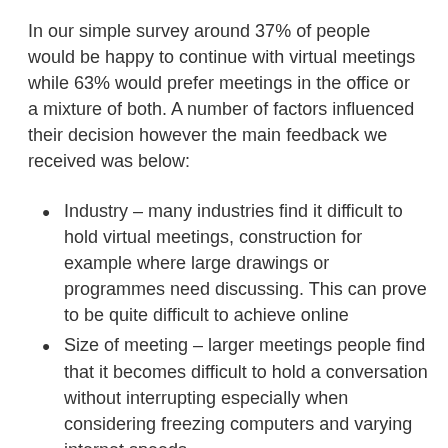In our simple survey around 37% of people would be happy to continue with virtual meetings while 63% would prefer meetings in the office or a mixture of both. A number of factors influenced their decision however the main feedback we received was below:
Industry – many industries find it difficult to hold virtual meetings, construction for example where large drawings or programmes need discussing. This can prove to be quite difficult to achieve online
Size of meeting – larger meetings people find that it becomes difficult to hold a conversation without interrupting especially when considering freezing computers and varying internet speeds.
Surroundings – many of us have created